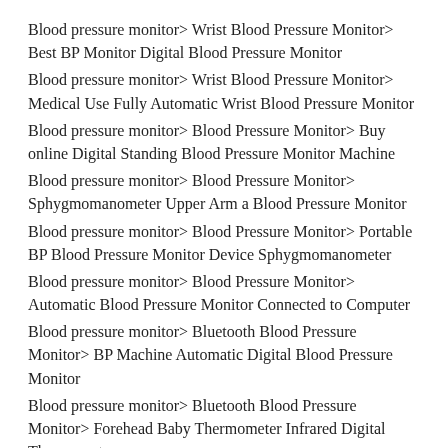Blood pressure monitor> Wrist Blood Pressure Monitor> Best BP Monitor Digital Blood Pressure Monitor
Blood pressure monitor> Wrist Blood Pressure Monitor> Medical Use Fully Automatic Wrist Blood Pressure Monitor
Blood pressure monitor> Blood Pressure Monitor> Buy online Digital Standing Blood Pressure Monitor Machine
Blood pressure monitor> Blood Pressure Monitor> Sphygmomanometer Upper Arm a Blood Pressure Monitor
Blood pressure monitor> Blood Pressure Monitor> Portable BP Blood Pressure Monitor Device Sphygmomanometer
Blood pressure monitor> Blood Pressure Monitor> Automatic Blood Pressure Monitor Connected to Computer
Blood pressure monitor> Bluetooth Blood Pressure Monitor> BP Machine Automatic Digital Blood Pressure Monitor
Blood pressure monitor> Bluetooth Blood Pressure Monitor> Forehead Baby Thermometer Infrared Digital Thermometer
Blood pressure monitor> Bluetooth Blood Pressure Monitor> Bp Monitor Digital Bluetooth A Blood Pressure Monitor